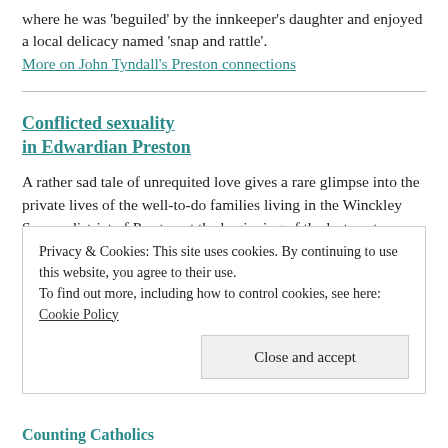where he was 'beguiled' by the innkeeper's daughter and enjoyed a local delicacy named 'snap and rattle'.
More on John Tyndall's Preston connections
Conflicted sexuality in Edwardian Preston
A rather sad tale of unrequited love gives a rare glimpse into the private lives of the well-to-do families living in the Winckley Square district of Preston at the beginning of the last century,
Privacy & Cookies: This site uses cookies. By continuing to use this website, you agree to their use.
To find out more, including how to control cookies, see here: Cookie Policy
Close and accept
Counting Catholics